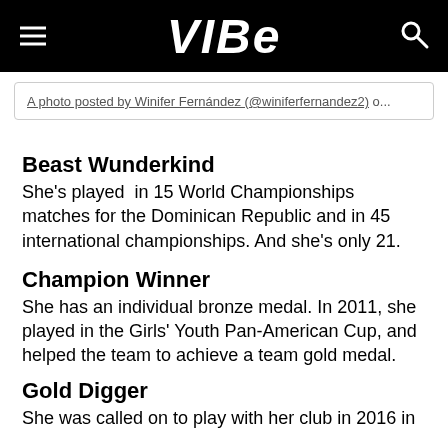VIBE
A photo posted by Winifer Fernández (@winiferfernandez2) o...
Beast Wunderkind
She's played  in 15 World Championships matches for the Dominican Republic and in 45 international championships. And she's only 21.
Champion Winner
She has an individual bronze medal. In 2011, she played in the Girls' Youth Pan-American Cup, and helped the team to achieve a team gold medal.
Gold Digger
She was called on to play with her club in 2016 in